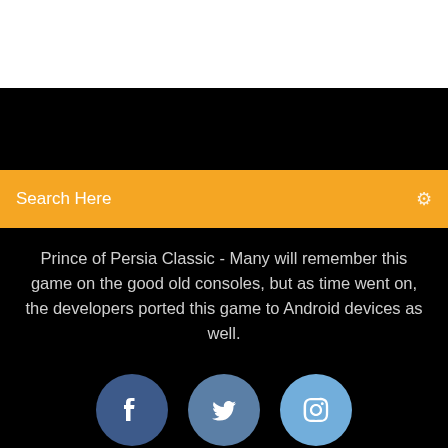[Figure (screenshot): White top bar area representing app header space]
[Figure (screenshot): Black navigation bar area]
Search Here
Prince of Persia Classic - Many will remember this game on the good old consoles, but as time went on, the developers ported this game to Android devices as well.
[Figure (illustration): Three social media icons: Facebook (dark blue circle), Twitter (medium blue circle), Instagram (light blue circle)]